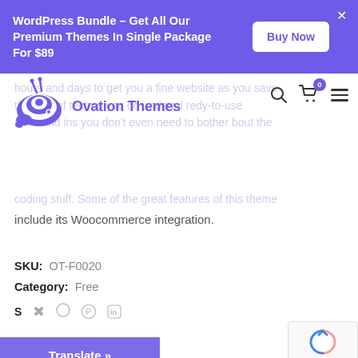WordPress Bundle - Get All Our Premium Themes In Single Package For $89 | Buy Now
[Figure (logo): Ovation Themes logo - purple snail/spiral shell icon with text 'Ovation Themes' in purple]
hours and days to get you a fine website as you save the cost of techno you do undertul redy-to-use skills and ins you don't even need to bother bout the coding stuff. Some of the great features of this theme include its Woocommerce integration.
SKU: OT-F0020
Category: Free
S [share icons]
Translate »